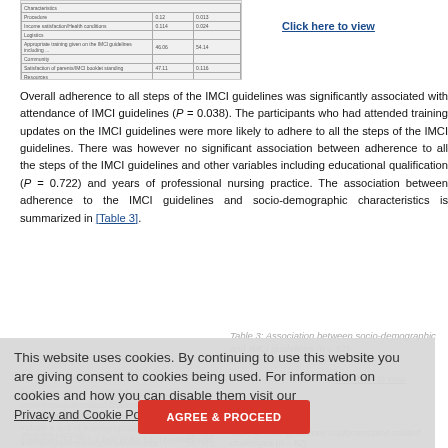[Figure (table-as-image): Partial view of a data table at the top of the page, showing rows with numeric values in two columns]
[Figure (other): Click here to view link for a table]
Overall adherence to all steps of the IMCI guidelines was significantly associated with attendance of IMCI guidelines (P = 0.038). The participants who had attended training updates on the IMCI guidelines were more likely to adhere to all the steps of the IMCI guidelines. There was however no significant association between adherence to all the steps of the IMCI guidelines and other variables including educational qualification (P = 0.722) and years of professional nursing practice. The association between adherence to the IMCI guidelines and socio-demographic characteristics is summarized in [Table 3].
Table 3: Association between socio-demographic and IMCI guidelines (n = 52)
This website uses cookies. By continuing to use this website you are giving consent to cookies being used. For information on cookies and how you can disable them visit our Privacy and Cookie Policy.
Five categories of the IMCI guidelines implementation-related challenges were identified by the participants as summarized in (Table 4). They include a lack of training updates on the IMCI guidelines (94.2%), a lack of the IMCI booklets and relevant resources (69.2%), and work-time pressure among others.
Table 4: IMCI guidelines implementation-related challenges (n = 52)